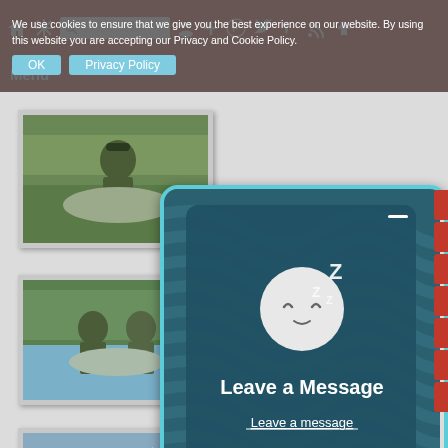[Figure (screenshot): Website navigation bar with red background, home icon, snowflake icon, search box, and social media icons]
We use cookies to ensure that we give you the best experience on our website. By using this website you are accepting our Privacy and Cookie Policy.
[Figure (photo): Person holding a large fish outdoors near water with vegetation in background]
[Figure (photo): Two people standing in water holding a large salmon fish]
[Figure (photo): Person in water holding up a fish]
[Figure (infographic): Sleep/message widget with swirling blue/teal background, sleeping moon face icon with Zzz, text reading Leave a Message and clickable Leave a message link]